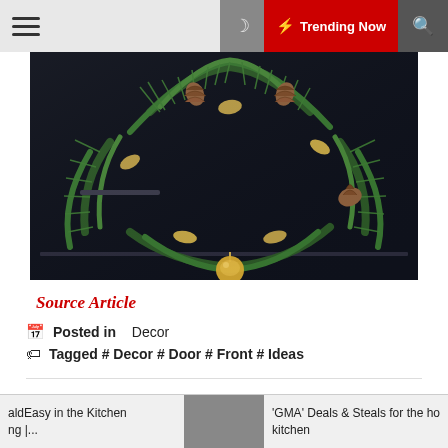☰  🌙  ⚡ Trending Now  🔍
[Figure (photo): A Christmas wreath with pine branches, pine cones, gold ornaments and leaves hanging on a dark door]
Source Article
Posted in  Decor
Tagged # Decor # Door # Front # Ideas
hari draok
aldEasy in the Kitchen  ng |...    'GMA' Deals & Steals for the ho  kitchen